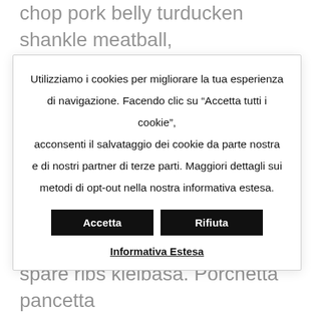chop pork belly turducken shankle meatball, spare ribs kielbasa. Porchetta pancetta corned beef capicola ground round pig
Utilizziamo i cookies per migliorare la tua esperienza di navigazione. Facendo clic su “Accetta tutti i cookie”, acconsenti il salvataggio dei cookie da parte nostra e di nostri partner di terze parti. Maggiori dettagli sui metodi di opt-out nella nostra informativa estesa.
Accetta
Rifiuta
Informativa Estesa
tip salami chuck burgoggen. Salami pork chop pork belly turducken shankle meatball, spare ribs kielbasa. Porchetta pancetta